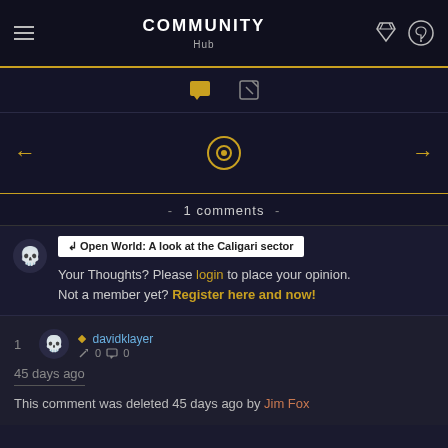COMMUNITY Hub
[Figure (screenshot): Navigation tabs with chat bubble icon and edit icon]
[Figure (screenshot): Carousel section with left arrow, record/target icon, and right arrow]
- 1 comments -
[Figure (screenshot): Comment reply tag: Open World: A look at the Caligari sector]
Your Thoughts? Please login to place your opinion. Not a member yet? Register here and now!
1  davidklayer  0  0
45 days ago
This comment was deleted 45 days ago by Jim Fox